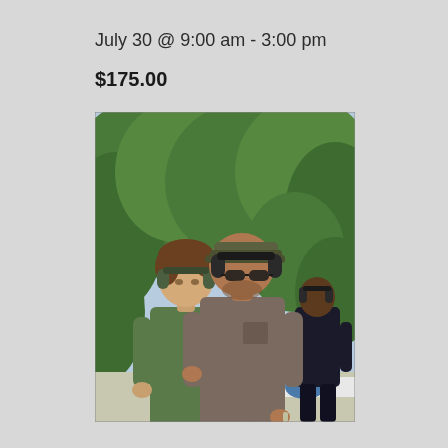July 30 @ 9:00 am - 3:00 pm
$175.00
[Figure (photo): Outdoor shooting range scene. An instructor wearing a gray t-shirt, olive cap, and ear protection headset is demonstrating something to a younger student in a green t-shirt also wearing ear protection. A third person in a black shirt with ear protection stands in the background. Green trees and foliage in background.]